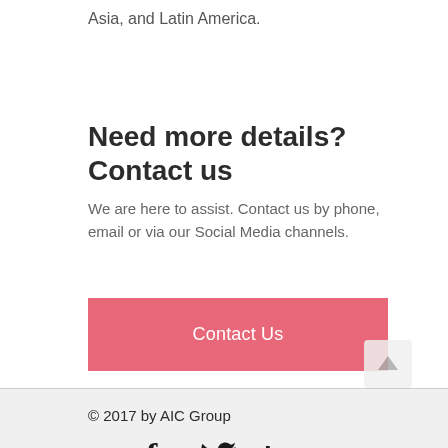Asia, and Latin America.
Need more details? Contact us
We are here to assist. Contact us by phone, email or via our Social Media channels.
[Figure (other): Pink 'Contact Us' button]
© 2017 by AIC Group